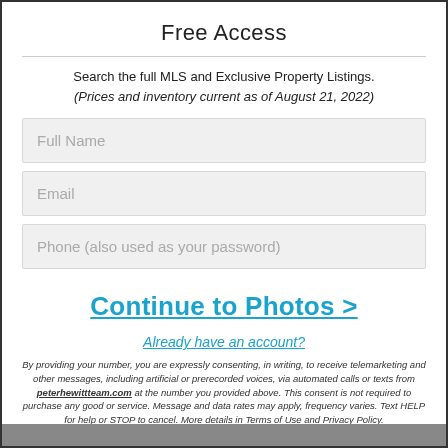Free Access
Search the full MLS and Exclusive Property Listings.
(Prices and inventory current as of August 21, 2022)
Full Name
Email
Phone (also used as your password)
Continue to Photos >
Already have an account?
By providing your number, you are expressly consenting, in writing, to receive telemarketing and other messages, including artificial or prerecorded voices, via automated calls or texts from peterhewittteam.com at the number you provided above. This consent is not required to purchase any good or service. Message and data rates may apply, frequency varies. Text HELP for help or STOP to cancel. More details in Terms of Use and Privacy Policy.